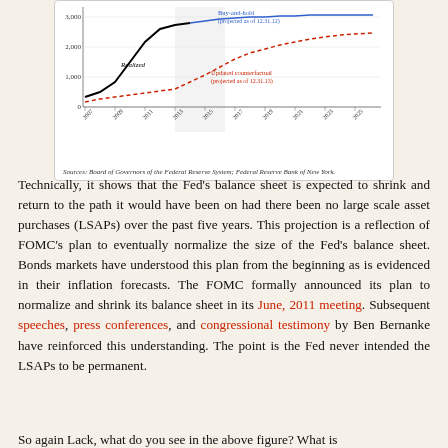[Figure (line-chart): Line chart showing Realized Fed balance sheet vs Buy-and-hold (projected as of 12.31.12) and Updated counterfactual (projected as of 12.31.13) from 2007 to 2025, with y-axis values 0 to 3000+]
Sources: Board of Governors of the Federal Reserve System; Federal Reserve Bank of New York.
Technically, it shows that the Fed's balance sheet is expected to shrink and return to the path it would have been on had there been no large scale asset purchases (LSAPs) over the past five years. This projection is a reflection of FOMC's plan to eventually normalize the size of the Fed's balance sheet. Bonds markets have understood this plan from the beginning as is evidenced in their inflation forecasts. The FOMC formally announced its plan to normalize and shrink its balance sheet in its June, 2011 meeting. Subsequent speeches, press conferences, and congressional testimony by Ben Bernanke have reinforced this understanding. The point is the Fed never intended the LSAPs to be permanent.
So again Lack, what do you see in the above figure? What is